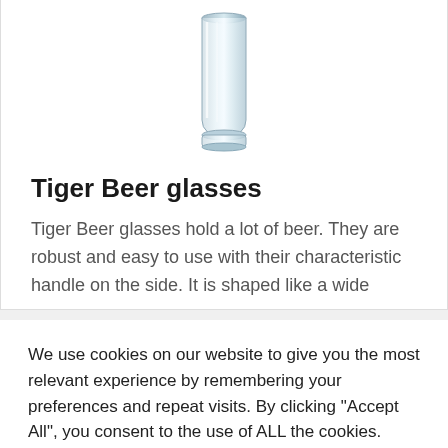[Figure (photo): A clear glass beer glass photographed from above/side angle, cylindrical shape, transparent]
Tiger Beer glasses
Tiger Beer glasses hold a lot of beer. They are robust and easy to use with their characteristic handle on the side. It is shaped like a wide
We use cookies on our website to give you the most relevant experience by remembering your preferences and repeat visits. By clicking "Accept All", you consent to the use of ALL the cookies. However, you may visit "Cookie Settings" to provide a controlled consent.